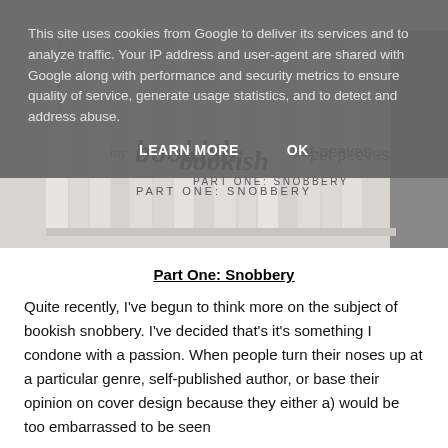This site uses cookies from Google to deliver its services and to analyze traffic. Your IP address and user-agent are shared with Google along with performance and security metrics to ensure quality of service, generate usage statistics, and to detect and address abuse.
LEARN MORE    OK
[Figure (photo): A banner image showing book spines on a shelf with text overlay reading 'my bookish pet-peeves PART ONE: SNOBBERY']
Part One: Snobbery
Quite recently, I've begun to think more on the subject of bookish snobbery. I've decided that's it's something I condone with a passion. When people turn their noses up at a particular genre, self-published author, or base their opinion on cover design because they either a) would be too embarrassed to be seen